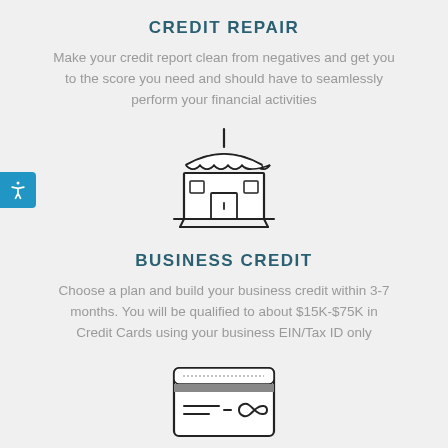CREDIT REPAIR
Make your credit report clean from negatives and get you to the score you need and should have to seamlessly perform your financial activities
[Figure (illustration): Storefront / market stall icon with awning and counter, line art style]
BUSINESS CREDIT
Choose a plan and build your business credit within 3-7 months. You will be qualified to about $15K-$75K in Credit Cards using your business EIN/Tax ID only
[Figure (illustration): Credit card / payment terminal icon, line art style showing a card with chip and infinity symbol]